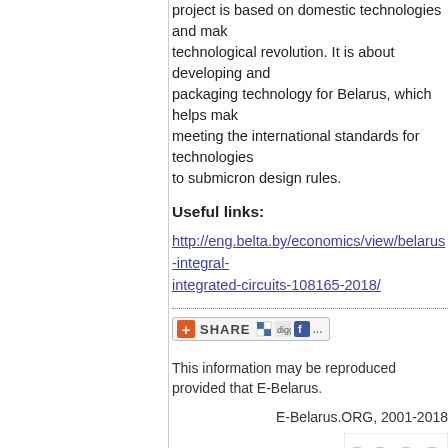project is based on domestic technologies and makes a technological revolution. It is about developing and packaging technology for Belarus, which helps make meeting the international standards for technologies to submicron design rules.
Useful links:
http://eng.belta.by/economics/view/belarus-integral-integrated-circuits-108165-2018/
[Figure (other): Social share button with icons for sharing: plus icon, SHARE text, del.icio.us, Digg, Facebook and more icons]
This information may be reproduced provided that E-Belarus.
E-Belarus.ORG, 2001-2018
[Figure (logo): Creative Commons BY-NC-ND license badge]
This work is licensed under a Creative Commons Attribution Derivative Works 3.0 License